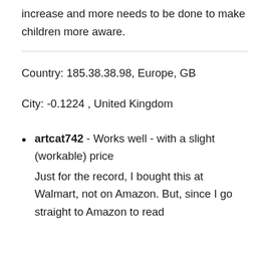increase and more needs to be done to make children more aware.
Country: 185.38.38.98, Europe, GB
City: -0.1224 , United Kingdom
artcat742 - Works well - with a slight (workable) price
Just for the record, I bought this at Walmart, not on Amazon. But, since I go straight to Amazon to read